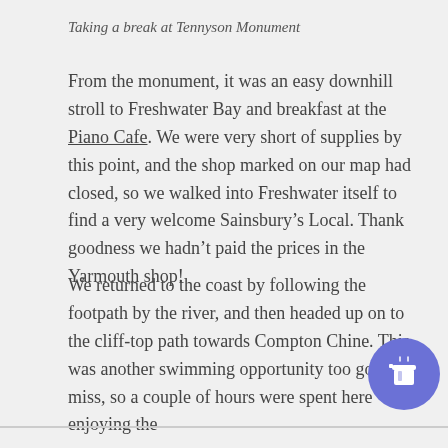Taking a break at Tennyson Monument
From the monument, it was an easy downhill stroll to Freshwater Bay and breakfast at the Piano Cafe. We were very short of supplies by this point, and the shop marked on our map had closed, so we walked into Freshwater itself to find a very welcome Sainsbury’s Local. Thank goodness we hadn’t paid the prices in the Yarmouth shop!
We returned to the coast by following the footpath by the river, and then headed up on to the cliff-top path towards Compton Chine. This was another swimming opportunity too good to miss, so a couple of hours were spent here enjoying the